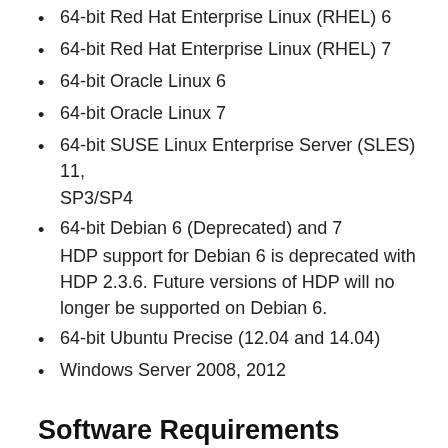64-bit Red Hat Enterprise Linux (RHEL) 6
64-bit Red Hat Enterprise Linux (RHEL) 7
64-bit Oracle Linux 6
64-bit Oracle Linux 7
64-bit SUSE Linux Enterprise Server (SLES) 11, SP3/SP4
64-bit Debian 6 (Deprecated) and 7
HDP support for Debian 6 is deprecated with HDP 2.3.6. Future versions of HDP will no longer be supported on Debian 6.
64-bit Ubuntu Precise (12.04 and 14.04)
Windows Server 2008, 2012
Software Requirements
Install the following software on each of your hosts: